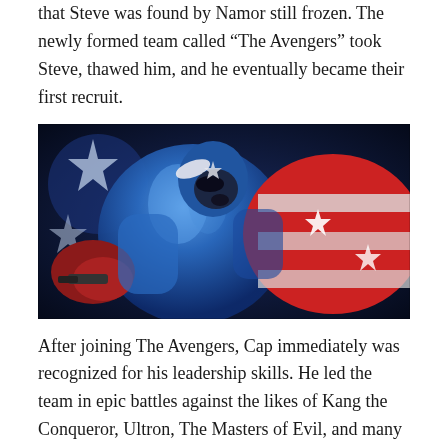that Steve was found by Namor still frozen. The newly formed team called “The Avengers” took Steve, thawed him, and he eventually became their first recruit.
[Figure (illustration): Comic book style illustration of Captain America in blue and silver costume, holding a gun and his iconic red, white, and blue shield with stars, dynamic action pose.]
After joining The Avengers, Cap immediately was recognized for his leadership skills. He led the team in epic battles against the likes of Kang the Conqueror, Ultron, The Masters of Evil, and many more. He also found himself up against old enemies like Baron Zemo and his arch-nemesis The Red Skull. But one of the biggest moments in the history of Captain America came at the